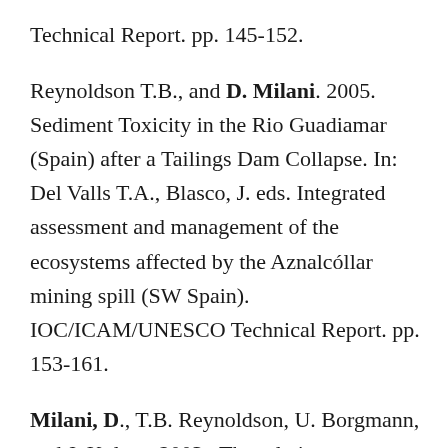Technical Report. pp. 145-152.
Reynoldson T.B., and D. Milani. 2005. Sediment Toxicity in the Rio Guadiamar (Spain) after a Tailings Dam Collapse. In: Del Valls T.A., Blasco, J. eds. Integrated assessment and management of the ecosystems affected by the Aznalcóllar mining spill (SW Spain). IOC/ICAM/UNESCO Technical Report. pp. 153-161.
Milani, D., T.B. Reynoldson, U. Borgmann, and J. Kolasa. 2003.  The relative sensitivity of four benthic invertebrates to metals in spiked-sediment exposures and application